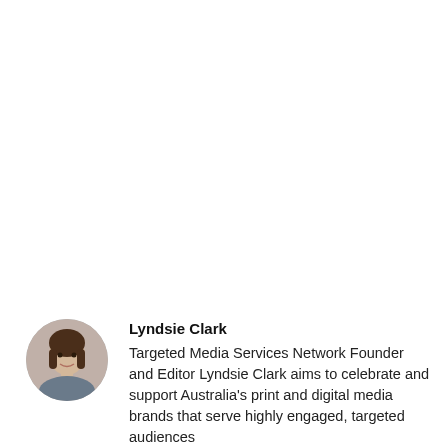[Figure (photo): Circular headshot photo of Lyndsie Clark, a woman with dark hair]
Lyndsie Clark
Targeted Media Services Network Founder and Editor Lyndsie Clark aims to celebrate and support Australia's print and digital media brands that serve highly engaged, targeted audiences